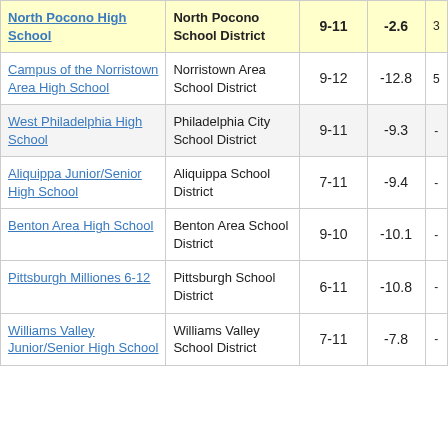| School | District | Grades | Score | ... |
| --- | --- | --- | --- | --- |
| North Pocono High School | North Pocono School District | 9-11 | -2.6 | 3... |
| Campus of the Norristown Area High School | Norristown Area School District | 9-12 | -12.8 | 5... |
| West Philadelphia High School | Philadelphia City School District | 9-11 | -9.3 | -... |
| Aliquippa Junior/Senior High School | Aliquippa School District | 7-11 | -9.4 | -... |
| Benton Area High School | Benton Area School District | 9-10 | -10.1 | -... |
| Pittsburgh Milliones 6-12 | Pittsburgh School District | 6-11 | -10.8 | -... |
| Williams Valley Junior/Senior High School | Williams Valley School District | 7-11 | -7.8 | -... |